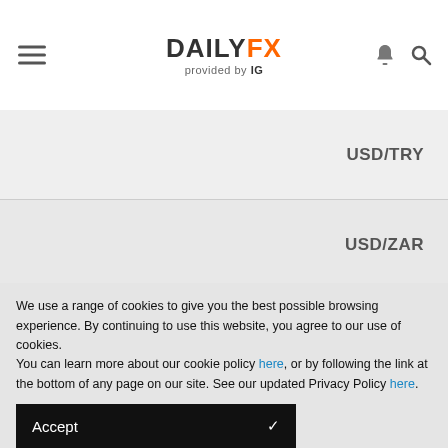DAILYFX provided by IG
USD/TRY
USD/ZAR
USD/HKD
USD/SGD
We use a range of cookies to give you the best possible browsing experience. By continuing to use this website, you agree to our use of cookies.
You can learn more about our cookie policy here, or by following the link at the bottom of any page on our site. See our updated Privacy Policy here.
Accept